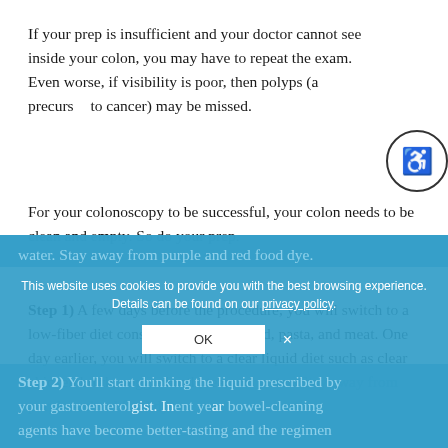If your prep is insufficient and your doctor cannot see inside your colon, you may have to repeat the exam. Even worse, if visibility is poor, then polyps (a precursor to cancer) may be missed.
For your colonoscopy to be successful, your colon needs to be clean and empty. So do your prep.
Step 1) A few days before the procedure, you will switch to a low-fiber diet consisting of eggs, bread, pasta, and meat. One day earlier, you will switch to a clear liquid diet such as clear chicken broth, veggie broth, tea, and water. Stay away from purple and red food dye.
Step 2) You'll start drinking the liquid prescribed by your gastroenterologist. In recent years bowel-cleaning agents have become better-tasting and the regimen
This website uses cookies to provide you with the best browsing experience. Details can be found on our privacy policy.